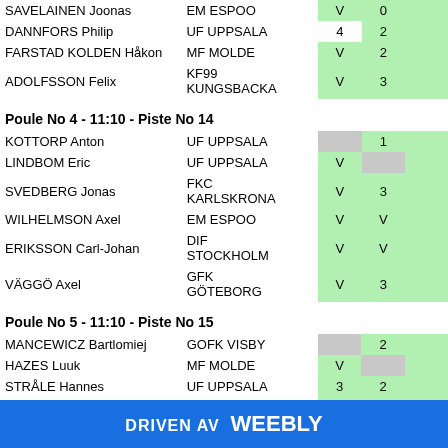| Name | Club | S1 | S2 | S3 |
| --- | --- | --- | --- | --- |
| SAVELAINEN Joonas | EM ESPOO | V | 0 |  |
| DANNFORS Philip | UF UPPSALA | 4 | 2 |  |
| FARSTAD KOLDEN Håkon | MF MOLDE | V | 2 |  |
| ADOLFSSON Felix | KF99 KUNGSBACKA | V | 3 |  |
Poule No 4 - 11:10 - Piste No 14
| Name | Club | S1 | S2 | S3 |
| --- | --- | --- | --- | --- |
| KOTTORP Anton | UF UPPSALA |  | 1 |  |
| LINDBOM Eric | UF UPPSALA | V |  |  |
| SVEDBERG Jonas | FKC KARLSKRONA | V | 3 |  |
| WILHELMSON Axel | EM ESPOO | V | V |  |
| ERIKSSON Carl-Johan | DIF STOCKHOLM | V | V |  |
| VÄGGÖ Axel | GFK GÖTEBORG | V | 3 |  |
Poule No 5 - 11:10 - Piste No 15
| Name | Club | S1 | S2 | S3 |
| --- | --- | --- | --- | --- |
| MANCEWICZ Bartlomiej | GOFK VISBY |  | 2 |  |
| HAZES Luuk | MF MOLDE | V |  |  |
| STRÅLE Hannes | UF UPPSALA | 3 | 2 |  |
| MIKKILÄ Max | TMÅF TURKU | V | 1 |  |
| HAGBERG David | DIF STOCKHOLM | 3 | 2 |  |
DRIVEN AV Weebly